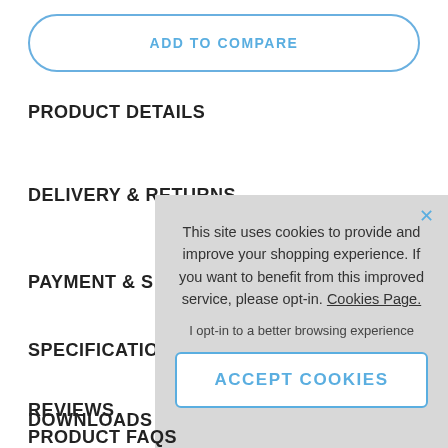ADD TO COMPARE
PRODUCT DETAILS
DELIVERY & RETURNS
PAYMENT & S
SPECIFICATIO
REVIEWS
DOWNLOADS
PRODUCT FAQS
This site uses cookies to provide and improve your shopping experience. If you want to benefit from this improved service, please opt-in. Cookies Page.
I opt-in to a better browsing experience
ACCEPT COOKIES